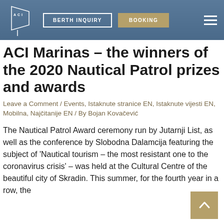BERTH INQUIRY | BOOKING
ACI Marinas – the winners of the 2020 Nautical Patrol prizes and awards
Leave a Comment / Events, Istaknute stranice EN, Istaknute vijesti EN, Mobilna, Najčitanije EN / By Bojan Kovačević
The Nautical Patrol Award ceremony run by Jutarnji List, as well as the conference by Slobodna Dalamcija featuring the subject of 'Nautical tourism – the most resistant one to the coronavirus crisis' – was held at the Cultural Centre of the beautiful city of Skradin. This summer, for the fourth year in a row, the